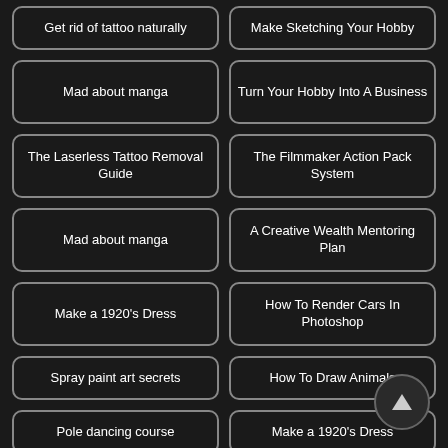Get rid of tattoo naturally
Make Sketching Your Hobby
Mad about manga
Turn Your Hobby Into A Business
The Laserless Tattoo Removal Guide
The Filmmaker Action Pack System
Mad about manga
A Creative Wealth Mentoring Plan
Make a 1920's Dress
How To Render Cars In Photoshop
Spray paint art secrets
How To Draw Animals
Pole dancing course
Make a 1920's Dress
[Figure (other): Scroll-to-top button with upward triangle icon]